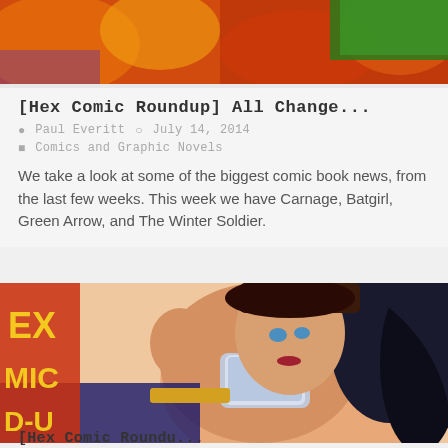[Figure (illustration): Top portion of a comic book image showing a green-gloved archer and fire/explosion background]
[Hex Comic Roundup] All Change...
Paul Everitt   July 14, 2014
Comics and Graphic Novels
We take a look at some of the biggest comic book news, from the last few weeks. This week we have Carnage, Batgirl, Green Arrow, and The Winter Soldier.
[Figure (illustration): Comic book illustration of Wonder Woman in fighting pose with silver gauntlets, black hair flowing, with partial HEX COMIC ROUNDUP text visible on left]
[Hex Comic Roundu...